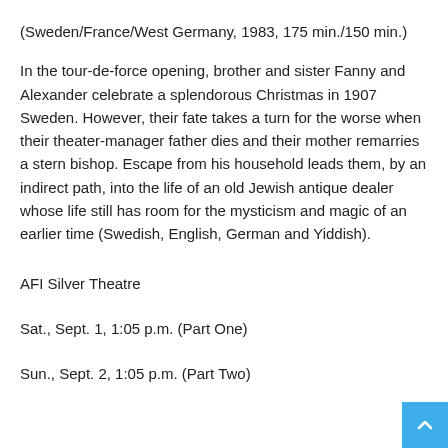(Sweden/France/West Germany, 1983, 175 min./150 min.)
In the tour-de-force opening, brother and sister Fanny and Alexander celebrate a splendorous Christmas in 1907 Sweden. However, their fate takes a turn for the worse when their theater-manager father dies and their mother remarries a stern bishop. Escape from his household leads them, by an indirect path, into the life of an old Jewish antique dealer whose life still has room for the mysticism and magic of an earlier time (Swedish, English, German and Yiddish).
AFI Silver Theatre
Sat., Sept. 1, 1:05 p.m. (Part One)
Sun., Sept. 2, 1:05 p.m. (Part Two)